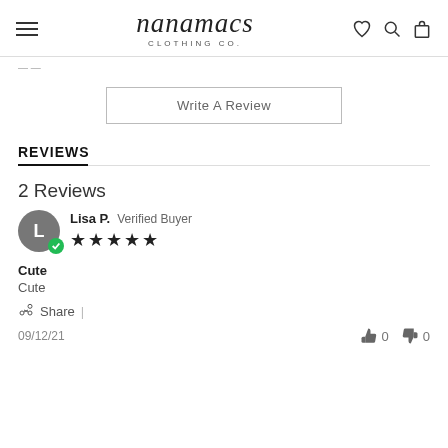nanamacs CLOTHING CO.
Write A Review
REVIEWS
2 Reviews
Lisa P. Verified Buyer ★★★★★
Cute
Cute
Share
09/12/21  👍 0  👎 0